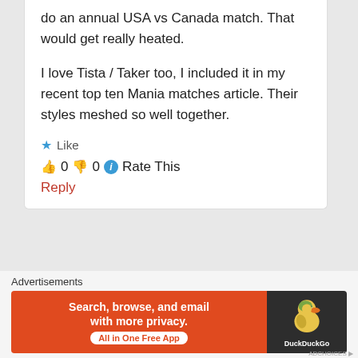do an annual USA vs Canada match. That would get really heated.

I love Tista / Taker too, I included it in my recent top ten Mania matches article. Their styles meshed so well together.
★ Like
👍 0 👎 0 ℹ Rate This
Reply
Advertisements
[Figure (screenshot): DuckDuckGo advertisement banner: 'Search, browse, and email with more privacy. All in One Free App' with DuckDuckGo duck logo on dark background]